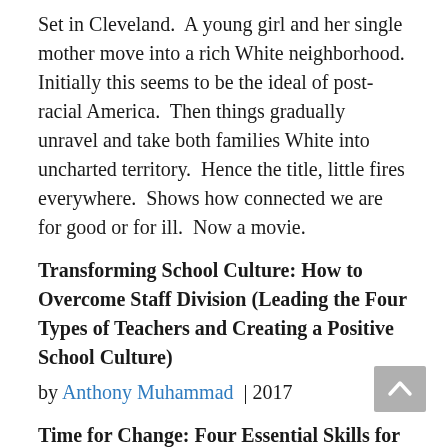Set in Cleveland.  A young girl and her single mother move into a rich White neighborhood.  Initially this seems to be the ideal of post-racial America.  Then things gradually unravel and take both families White into uncharted territory.  Hence the title, little fires everywhere.  Shows how connected we are for good or for ill.  Now a movie.
Transforming School Culture: How to Overcome Staff Division (Leading the Four Types of Teachers and Creating a Positive School Culture)
by Anthony Muhammad  | 2017
Time for Change: Four Essential Skills for Transformational School and District Leaders
by Anthony Muhammad  (Author), Luis F. Cruz  (Author) | 2019
Author is a popular conference speaker.  Speaks and